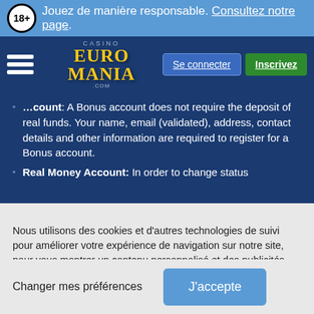Jouez de manière responsable. Consultez notre page.
[Figure (logo): Casino EuroMania logo with hamburger menu, Se connecter and Inscrivez buttons]
Bonus account: A Bonus account does not require the deposit of real funds. Your name, email (validated), address, contact details and other information are required to register for a Bonus account.
Real Money Account: In order to change status
Nous utilisons des cookies et d'autres technologies de suivi pour améliorer votre expérience de navigation sur notre site, pour vous montrer un contenu personnalisé et des publicités ciblées, pour analyser le trafic de notre site et pour comprendre la provenance de nos visiteurs.
Changer mes préférences
J'accepte